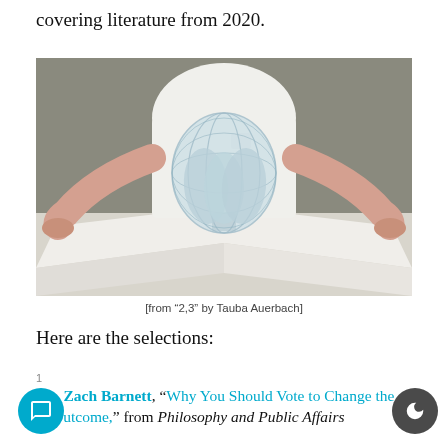covering literature from 2020.
[Figure (photo): A person in a white t-shirt holds open a large white book or paper, from which a translucent light-blue spherical sculptural object rises. The background is grey. The image is from '2,3' by Tauba Auerbach.]
[from “2,3” by Tauba Auerbach]
Here are the selections:
Zach Barnett, “Why You Should Vote to Change the Outcome,” from Philosophy and Public Affairs